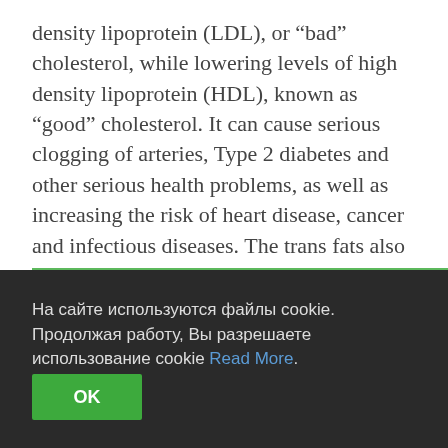density lipoprotein (LDL), or “bad” cholesterol, while lowering levels of high density lipoprotein (HDL), known as “good” cholesterol. It can cause serious clogging of arteries, Type 2 diabetes and other serious health problems, as well as increasing the risk of heart disease, cancer and infectious diseases. The trans fats also incorporate themselves into your cellular membranes, creating weaker immunity, making you more vulnerable to attack by infectious microorganisms. In the brain, trans fats are linked to poor memory, failing thought processes and attention deficit problems.
[Figure (photo): Partial view of food images showing baked goods or similar food items, with a green border, cropped at the bottom of the content area.]
На сайте используются файлы cookie. Продолжая работу, Вы разрешаете использование cookie Read More.
OK